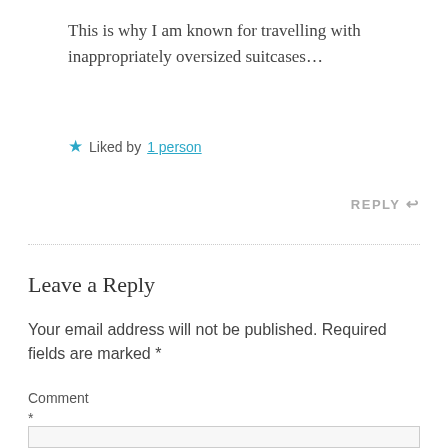This is why I am known for travelling with inappropriately oversized suitcases…
★ Liked by 1 person
REPLY ↩
Leave a Reply
Your email address will not be published. Required fields are marked *
Comment *